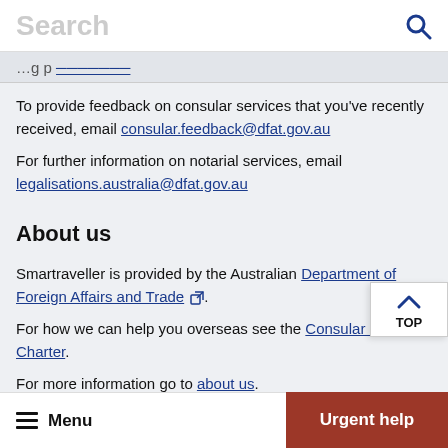Search
…g…p… [link]
To provide feedback on consular services that you've recently received, email consular.feedback@dfat.gov.au
For further information on notarial services, email legalisations.australia@dfat.gov.au
About us
Smartraveller is provided by the Australian Department of Foreign Affairs and Trade [external link].
For how we can help you overseas see the Consular Services Charter.
For more information go to about us.
Menu   Urgent help